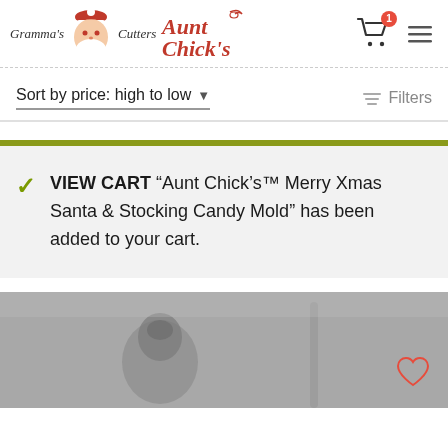[Figure (logo): Gramma's Cutters and Aunt Chick's logo with Santa face illustration and red script text]
Sort by price: high to low
Filters
VIEW CART “Aunt Chick’s™ Merry Xmas Santa & Stocking Candy Mold” has been added to your cart.
[Figure (photo): Grayscale product photo showing a Santa candy mold with a heart/wishlist icon overlay]